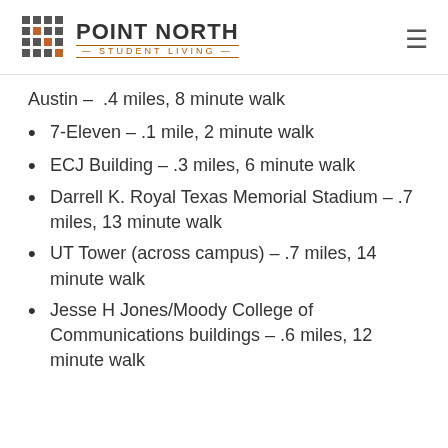POINT NORTH STUDENT LIVING
Austin – .4 miles, 8 minute walk
7-Eleven – .1 mile, 2 minute walk
ECJ Building – .3 miles, 6 minute walk
Darrell K. Royal Texas Memorial Stadium – .7 miles, 13 minute walk
UT Tower (across campus) – .7 miles, 14 minute walk
Jesse H Jones/Moody College of Communications buildings – .6 miles, 12 minute walk